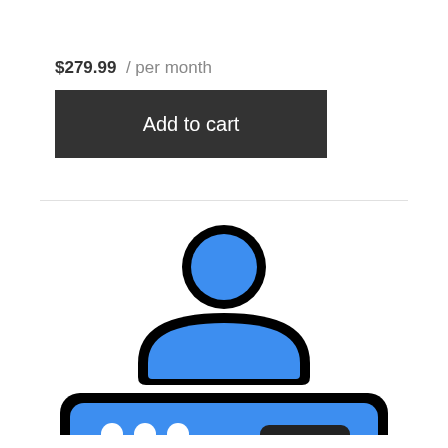$279.99  / per month
Add to cart
[Figure (illustration): Blue user/person icon with thick black outline, showing a person bust (head and shoulders), followed below by a blue rounded rectangle device/bar icon with thick black outline, three white circles on the left side and a dark rounded rectangle slot on the right side.]